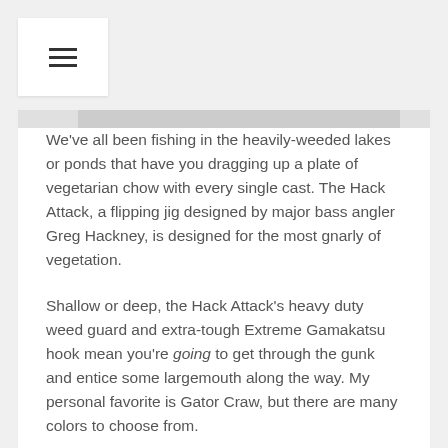[Figure (other): Hamburger menu icon (three horizontal lines) inside a white rounded rectangle]
We've all been fishing in the heavily-weeded lakes or ponds that have you dragging up a plate of vegetarian chow with every single cast. The Hack Attack, a flipping jig designed by major bass angler Greg Hackney, is designed for the most gnarly of vegetation.
Shallow or deep, the Hack Attack's heavy duty weed guard and extra-tough Extreme Gamakatsu hook mean you're going to get through the gunk and entice some largemouth along the way. My personal favorite is Gator Craw, but there are many colors to choose from.